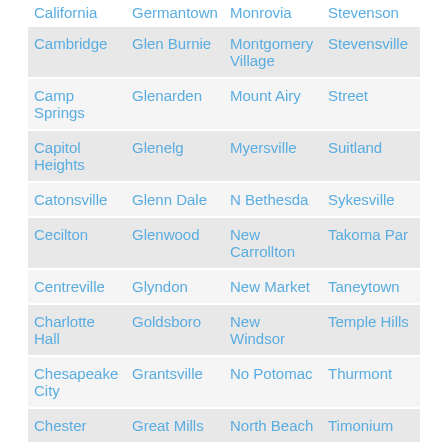| California | Germantown | Monrovia | Stevenson |
| Cambridge | Glen Burnie | Montgomery Village | Stevensville |
| Camp Springs | Glenarden | Mount Airy | Street |
| Capitol Heights | Glenelg | Myersville | Suitland |
| Catonsville | Glenn Dale | N Bethesda | Sykesville |
| Cecilton | Glenwood | New Carrollton | Takoma Par |
| Centreville | Glyndon | New Market | Taneytown |
| Charlotte Hall | Goldsboro | New Windsor | Temple Hills |
| Chesapeake City | Grantsville | No Potomac | Thurmont |
| Chester | Great Mills | North Beach | Timonium |